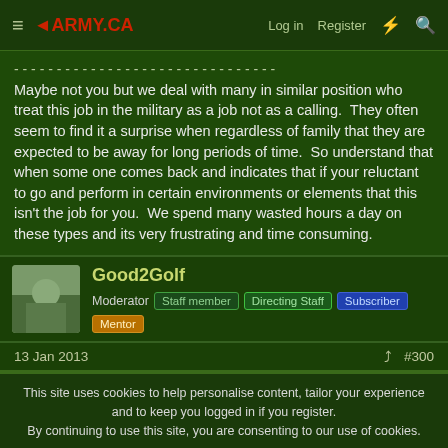≡ ◄ARMY.CA  Log in  Register
Maybe not you but we deal with many in similar position who treat this job in the military as a job not as a calling.  They often seem to find it a surprise when regardless of family that they are expected to be away for long periods of time.  So understand that when some one comes back and indicates that if your reluctant to go and perform in certain environments or elements that this isn't the job for you.  We spend many wasted hours a day on these types and its very frustrating and time consuming.
Good2Golf
Moderator  Staff member  Directing Staff  Subscriber  Mentor
13 Jan 2013  #300
This site uses cookies to help personalise content, tailor your experience and to keep you logged in if you register.
By continuing to use this site, you are consenting to our use of cookies.
✓ Accept  Learn more...